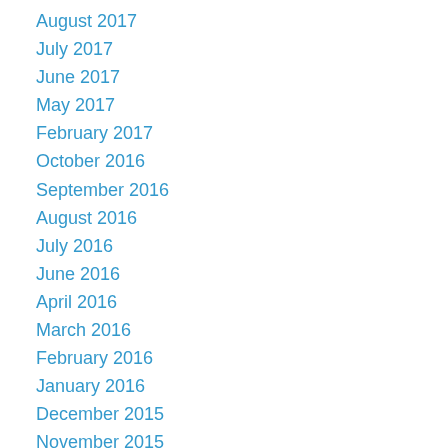August 2017
July 2017
June 2017
May 2017
February 2017
October 2016
September 2016
August 2016
July 2016
June 2016
April 2016
March 2016
February 2016
January 2016
December 2015
November 2015
October 2015
August 2015
July 2015
June 2015